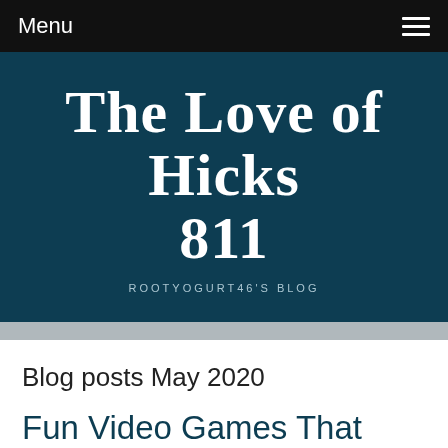Menu
The Love of Hicks 811
ROOTYOGURT46'S BLOG
Blog posts May 2020
Fun Video Games That Ladies Get Pleasure From Playing